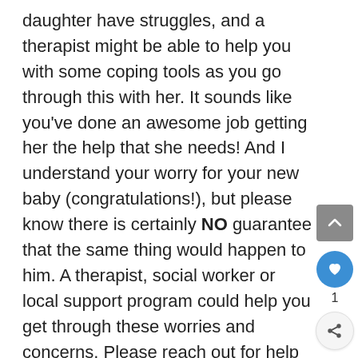daughter have struggles, and a therapist might be able to help you with some coping tools as you go through this with her. It sounds like you've done an awesome job getting her the help that she needs! And I understand your worry for your new baby (congratulations!), but please know there is certainly NO guarantee that the same thing would happen to him. A therapist, social worker or local support program could help you get through these worries and concerns. Please reach out for help so that you don't have to go through PPD alone. ~ K